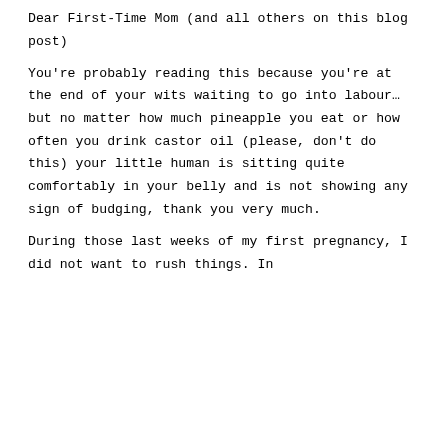Dear First-Time Mom (and all others on this blog post)
You're probably reading this because you're at the end of your wits waiting to go into labour… but no matter how much pineapple you eat or how often you drink castor oil (please, don't do this) your little human is sitting quite comfortably in your belly and is not showing any sign of budging, thank you very much.
During those last weeks of my first pregnancy, I did not want to rush things. In